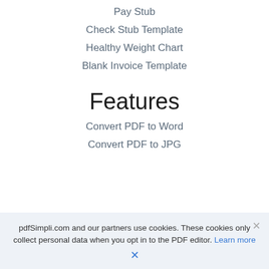Pay Stub
Check Stub Template
Healthy Weight Chart
Blank Invoice Template
Features
Convert PDF to Word
Convert PDF to JPG
pdfSimpli.com and our partners use cookies. These cookies only collect personal data when you opt in to the PDF editor. Learn more
×